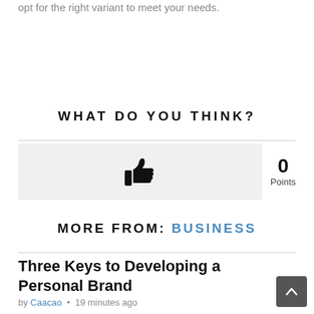opt for the right variant to meet your needs.
WHAT DO YOU THINK?
[Figure (other): Thumbs up like button in a light grey box, with 0 Points displayed to the right]
MORE FROM: BUSINESS
Three Keys to Developing a Personal Brand
by Caacao • 19 minutes ago